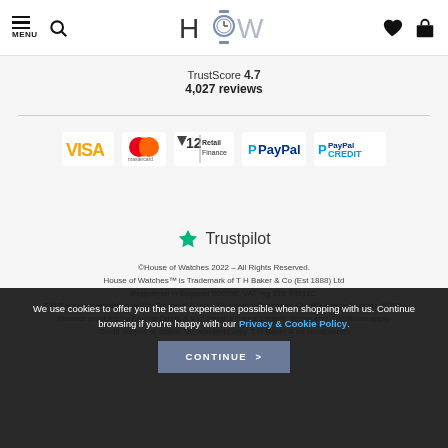MENU [search icon] | HOW (House of Watches logo) | [heart icon] [bag icon]
TrustScore 4.7
4,027 reviews
[Figure (logo): Payment method logos: VISA, Mastercard, V12 Retail Finance, PayPal, PayPal CREDIT]
[Figure (logo): Trustpilot logo with green star]
©House of Watches 2022 – All Rights Reserved.
House of Watches™ is Trademark of T H Baker & Co (Est 1888) Ltd
Registered in England 506598. VAT reg 278 938110.
T H Baker are regulated by the Financial Conduct Authority, Consumer Credit Licence Number 45215.
Finance provided by PayPal Credit & V12 Retail Finance Limited. Terms and Conditions apply.
Credit subject to status. UK residents only. T H Baker & co (established
We use cookies to offer you the best experience possible when shopping with us. Continue browsing if you're happy with our Privacy & Cookie Policy.
CONTINUE >